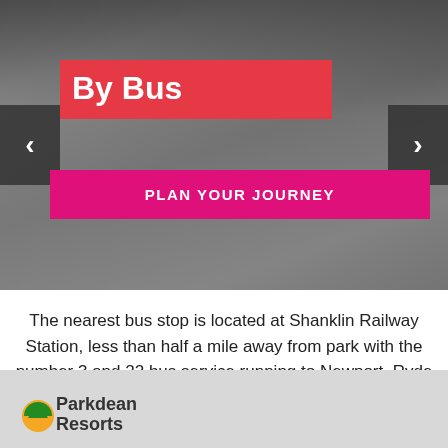[Figure (screenshot): Hero banner with grey gradient background, navigation arrows on left and right]
By Bus
PLAN YOUR JOURNEY
The nearest bus stop is located at Shanklin Railway Station, less than half a mile away from park with the number 3 and 22 bus service running to Newport, Ryde and Shanklin Esplanade.
[Figure (logo): Parkdean Resorts logo]